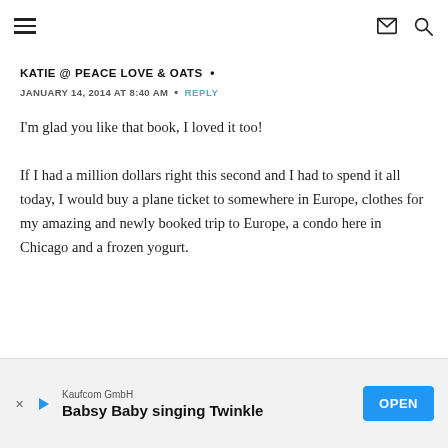≡  ✉  🔍
KATIE @ PEACE LOVE & OATS  •
JANUARY 14, 2014 AT 8:40 AM  •  REPLY
I'm glad you like that book, I loved it too!

If I had a million dollars right this second and I had to spend it all today, I would buy a plane ticket to somewhere in Europe, clothes for my amazing and newly booked trip to Europe, a condo here in Chicago and a frozen yogurt.
Kaufcom GmbH
Babsy Baby singing Twinkle  OPEN